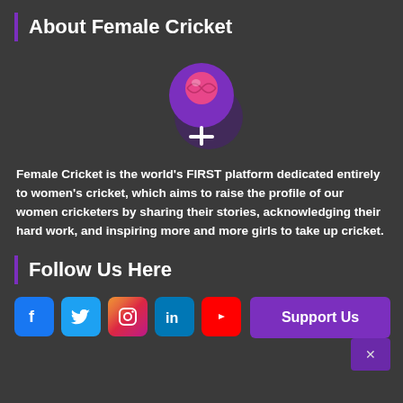About Female Cricket
[Figure (logo): Female Cricket logo: purple circle with pink cricket ball and white female gender symbol (Venus/cross)]
Female Cricket is the world's FIRST platform dedicated entirely to women's cricket, which aims to raise the profile of our women cricketers by sharing their stories, acknowledging their hard work, and inspiring more and more girls to take up cricket.
Follow Us Here
[Figure (infographic): Social media icons in a row: Facebook (blue), Twitter (blue), Instagram (gradient), LinkedIn (blue), YouTube (red)]